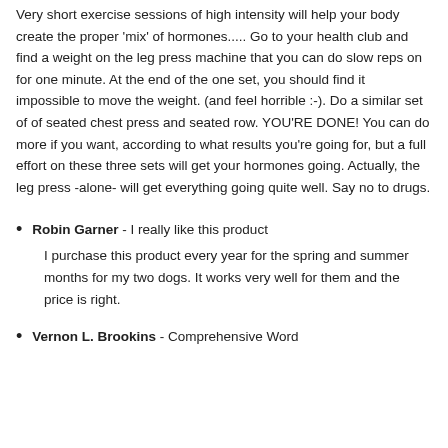Very short exercise sessions of high intensity will help your body create the proper 'mix' of hormones..... Go to your health club and find a weight on the leg press machine that you can do slow reps on for one minute. At the end of the one set, you should find it impossible to move the weight. (and feel horrible :-). Do a similar set of of seated chest press and seated row. YOU'RE DONE! You can do more if you want, according to what results you're going for, but a full effort on these three sets will get your hormones going. Actually, the leg press -alone- will get everything going quite well. Say no to drugs.
Robin Garner - I really like this product
I purchase this product every year for the spring and summer months for my two dogs. It works very well for them and the price is right.
Vernon L. Brookins - Comprehensive Word